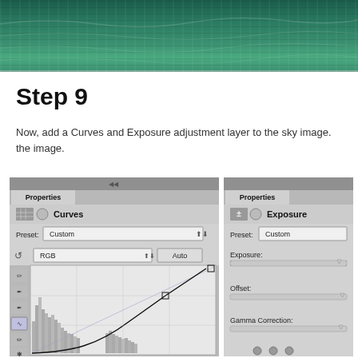[Figure (photo): Green teal water surface photo cropped at top of page]
Step 9
Now, add a Curves and Exposure adjustment layer to the sky image. the image.
[Figure (screenshot): Two Photoshop Properties panels side by side. Left panel shows Curves adjustment with Custom preset, RGB channel selector, Auto button, curve graph with histogram and S-curve with control points. Right panel shows Exposure adjustment with Custom preset and three sliders: Exposure, Offset, and Gamma Correction.]